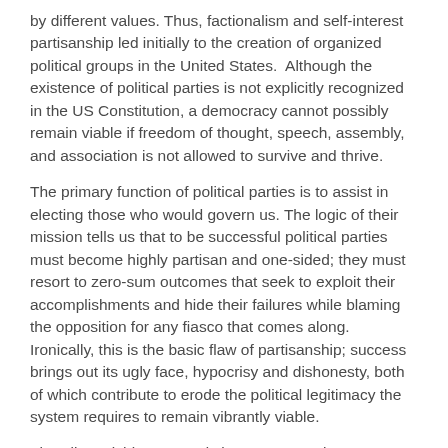by different values. Thus, factionalism and self-interest partisanship led initially to the creation of organized political groups in the United States.  Although the existence of political parties is not explicitly recognized in the US Constitution, a democracy cannot possibly remain viable if freedom of thought, speech, assembly, and association is not allowed to survive and thrive.
The primary function of political parties is to assist in electing those who would govern us. The logic of their mission tells us that to be successful political parties must become highly partisan and one-sided; they must resort to zero-sum outcomes that seek to exploit their accomplishments and hide their failures while blaming the opposition for any fiasco that comes along. Ironically, this is the basic flaw of partisanship; success brings out its ugly face, hypocrisy and dishonesty, both of which contribute to erode the political legitimacy the system requires to remain vibrantly viable.
The Flint, Michigan tragedy is a most prominent indication of what ails American politics.
There are two main actors in the crisis, a Republican governor under whose supervision and authority lead contamination of drinking water occurred, thus creating a public health hazard of incalculable proportions, and a Democratic appointee who heads